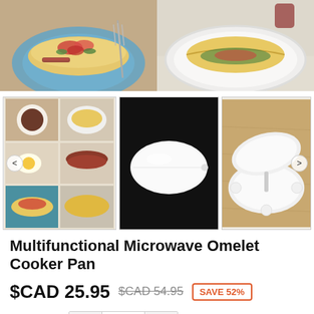[Figure (photo): Two food photos side by side: left shows an omelet with vegetables and bacon on a blue plate with a fork; right shows an omelet with filling on a white plate.]
[Figure (photo): Three thumbnail photos: left is a collage of breakfast dishes, center is a white clamshell microwave omelet cooker on black background, right is the white omelet cooker pan open showing two halves.]
Multifunctional Microwave Omelet Cooker Pan
$CAD 25.95  $CAD 54.95  SAVE 52%
Quantity  −  1  +